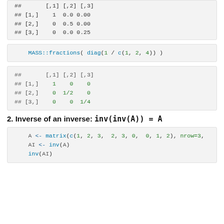## [,1] [,2] [,3]
## [1,]    1  0.0 0.00
## [2,]    0  0.5 0.00
## [3,]    0  0.0 0.25
MASS::fractions( diag(1 / c(1, 2, 4)) )
##      [,1] [,2] [,3]
## [1,]    1    0    0
## [2,]    0  1/2    0
## [3,]    0    0  1/4
2. Inverse of an inverse: inv(inv(A)) = A
A <- matrix(c(1, 2, 3,  2, 3, 0,  0, 1, 2), nrow=3,
AI <- inv(A)
inv(AI)